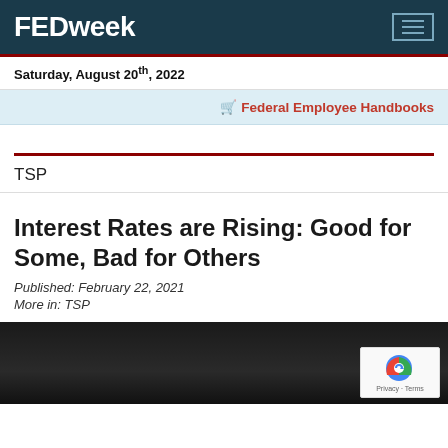FEDweek
Saturday, August 20th, 2022
🛒 Federal Employee Handbooks
TSP
Interest Rates are Rising: Good for Some, Bad for Others
Published: February 22, 2021
More in: TSP
[Figure (photo): Dark background article image with a blurred figure, partially visible at bottom. A reCAPTCHA privacy badge overlay in bottom right corner.]